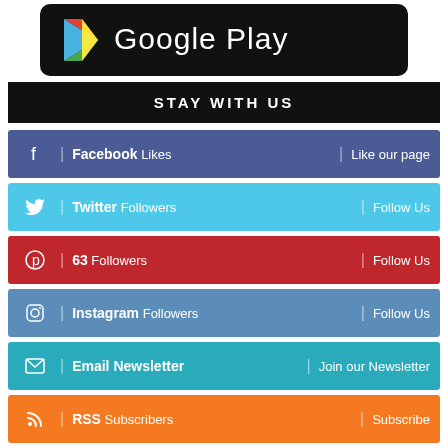[Figure (logo): Google Play Store black banner logo with triangle play icon and 'Google Play' text in white]
STAY WITH US
Facebook  Likes  |  Like our page
Twitter  Followers  |  Follow Us
63  Followers  |  Follow Us
Instagram  Followers  |  Follow Us
Email Newsletter  |  Join our Newsletter
RSS  Subscribers  |  Subscribe
Google Play  Android App  |  Download our